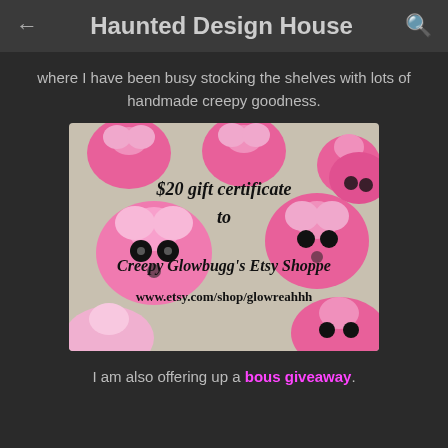Haunted Design House
where I have been busy stocking the shelves with lots of handmade creepy goodness.
[Figure (photo): Pink and white skull-shaped candy/cookies arranged on a surface with text overlay: '$20 gift certificate to Creepy Glowbugg's Etsy Shoppe www.etsy.com/shop/glowreahhh']
I am also offering up a bous giveaway.